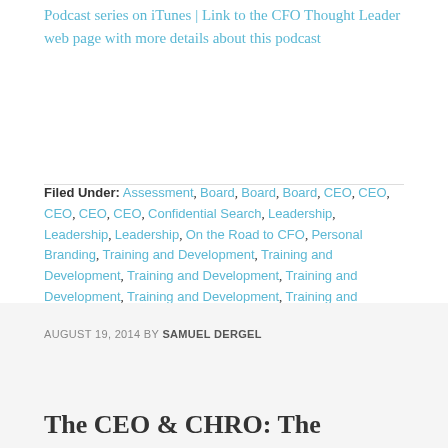Podcast series on iTunes | Link to the CFO Thought Leader web page with more details about this podcast
Filed Under: Assessment, Board, Board, Board, CEO, CEO, CEO, CEO, CEO, Confidential Search, Leadership, Leadership, Leadership, On the Road to CFO, Personal Branding, Training and Development, Training and Development, Training and Development, Training and Development, Training and Development, Training and Development
AUGUST 19, 2014 BY SAMUEL DERGEL
The CEO & CHRO: The